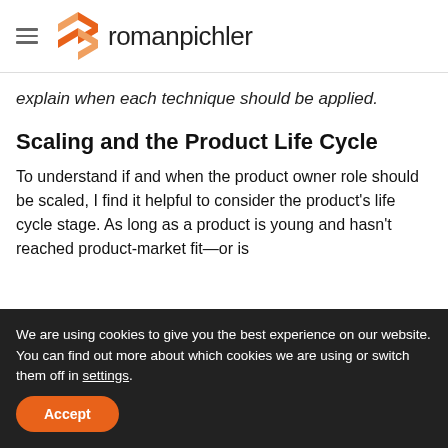romanpichler
explain when each technique should be applied.
Scaling and the Product Life Cycle
To understand if and when the product owner role should be scaled, I find it helpful to consider the product's life cycle stage. As long as a product is young and hasn't reached product-market fit—or is
We are using cookies to give you the best experience on our website.
You can find out more about which cookies we are using or switch them off in settings.
Accept